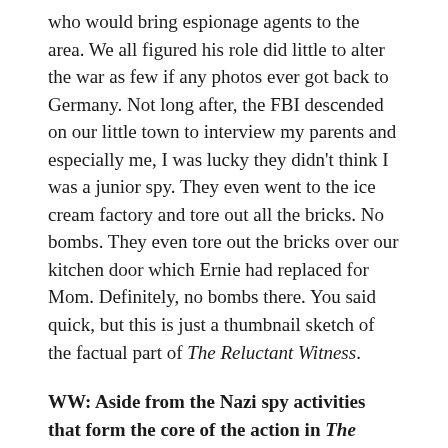who would bring espionage agents to the area. We all figured his role did little to alter the war as few if any photos ever got back to Germany. Not long after, the FBI descended on our little town to interview my parents and especially me, I was lucky they didn't think I was a junior spy. They even went to the ice cream factory and tore out all the bricks. No bombs. They even tore out the bricks over our kitchen door which Ernie had replaced for Mom. Definitely, no bombs there. You said quick, but this is just a thumbnail sketch of the factual part of The Reluctant Witness.
WW: Aside from the Nazi spy activities that form the core of the action in The Reluctant Witness, one of the most exciting scenes recounts the appearance of Babe Ruth in your main character's small town. He was on a train tour to sign baseballs in various locations. Did you